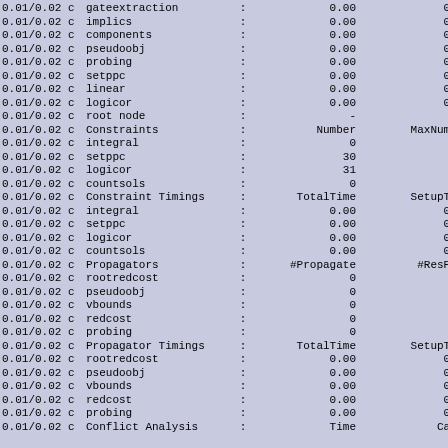| Time | c | Name | : | Col1 | Col2 |
| --- | --- | --- | --- | --- | --- |
| 0.01/0.02 | c | gateextraction | : | 0.00 | 0.00 |
| 0.01/0.02 | c | implics | : | 0.00 | 0.00 |
| 0.01/0.02 | c | components | : | 0.00 | 0.00 |
| 0.01/0.02 | c | pseudoobj | : | 0.00 | 0.00 |
| 0.01/0.02 | c | probing | : | 0.00 | 0.00 |
| 0.01/0.02 | c | setppc | : | 0.00 | 0.00 |
| 0.01/0.02 | c | linear | : | 0.00 | 0.00 |
| 0.01/0.02 | c | logicor | : | 0.00 | 0.00 |
| 0.01/0.02 | c | root node | : | - | - |
| 0.01/0.02 | c | Constraints | : | Number | MaxNumber |
| 0.01/0.02 | c |   integral | : | 0 | 0 |
| 0.01/0.02 | c |   setppc | : | 30 | 30 |
| 0.01/0.02 | c |   logicor | : | 31 | 31 |
| 0.01/0.02 | c |   countsols | : | 0 | 0 |
| 0.01/0.02 | c | Constraint Timings | : | TotalTime | SetupTime |
| 0.01/0.02 | c |   integral | : | 0.00 | 0.00 |
| 0.01/0.02 | c |   setppc | : | 0.00 | 0.00 |
| 0.01/0.02 | c |   logicor | : | 0.00 | 0.00 |
| 0.01/0.02 | c |   countsols | : | 0.00 | 0.00 |
| 0.01/0.02 | c | Propagators | : | #Propagate | #ResProp |
| 0.01/0.02 | c |   rootredcost | : | 0 | 0 |
| 0.01/0.02 | c |   pseudoobj | : | 0 | 0 |
| 0.01/0.02 | c |   vbounds | : | 0 | 0 |
| 0.01/0.02 | c |   redcost | : | 0 | 0 |
| 0.01/0.02 | c |   probing | : | 0 | 0 |
| 0.01/0.02 | c | Propagator Timings | : | TotalTime | SetupTime |
| 0.01/0.02 | c |   rootredcost | : | 0.00 | 0.00 |
| 0.01/0.02 | c |   pseudoobj | : | 0.00 | 0.00 |
| 0.01/0.02 | c |   vbounds | : | 0.00 | 0.00 |
| 0.01/0.02 | c |   redcost | : | 0.00 | 0.00 |
| 0.01/0.02 | c |   probing | : | 0.00 | 0.00 |
| 0.01/0.02 | c | Conflict Analysis | : | Time | Calls |